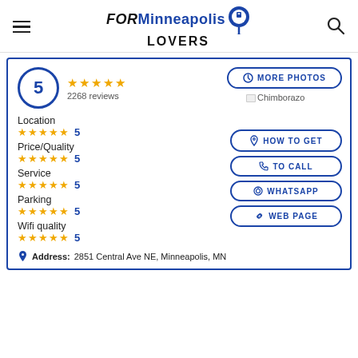FOR Minneapolis LOVERS
5 ★★★★★ 2268 reviews
MORE PHOTOS
Chimborazo
Location ★★★★★ 5
HOW TO GET
Price/Quality ★★★★★ 5
TO CALL
Service ★★★★★ 5
WHATSAPP
Parking ★★★★★ 5
WEB PAGE
Wifi quality ★★★★★ 5
Address: 2851 Central Ave NE, Minneapolis, MN